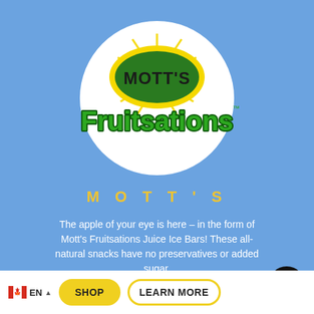[Figure (logo): Mott's Fruitsations logo — oval yellow sunburst shape with 'MOTT'S' in dark text on a yellow ellipse, 'Fruitsations' in large green 3D-style lettering below, set inside a white circle on a blue background]
MOTT'S
The apple of your eye is here – in the form of Mott's Fruitsations Juice Ice Bars! These all-natural snacks have no preservatives or added sugar.
EN  SHOP  LEARN MORE